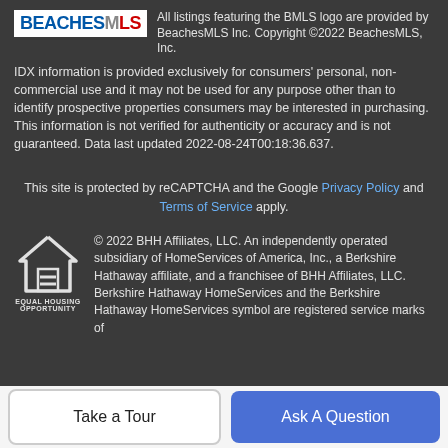[Figure (logo): BeachesMLS logo — blue and red text on white background]
All listings featuring the BMLS logo are provided by BeachesMLS Inc. Copyright ©2022 BeachesMLS, Inc.
IDX information is provided exclusively for consumers' personal, non-commercial use and it may not be used for any purpose other than to identify prospective properties consumers may be interested in purchasing. This information is not verified for authenticity or accuracy and is not guaranteed. Data last updated 2022-08-24T00:18:36.637.
This site is protected by reCAPTCHA and the Google Privacy Policy and Terms of Service apply.
[Figure (logo): Equal Housing Opportunity logo — house outline with equal sign]
© 2022 BHH Affiliates, LLC. An independently operated subsidiary of HomeServices of America, Inc., a Berkshire Hathaway affiliate, and a franchisee of BHH Affiliates, LLC. Berkshire Hathaway HomeServices and the Berkshire Hathaway HomeServices symbol are registered service marks of
Take a Tour
Ask A Question